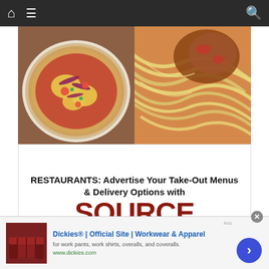[Figure (screenshot): Mobile navigation bar with home icon, hamburger menu, and search icon on dark background]
[Figure (photo): Food photos showing a pizza on the left and spaghetti with meat sauce on the right]
[Figure (infographic): Restaurant advertisement: RESTAURANTS: Advertise Your Take-Out Menus & Delivery Options with SOURCE. Email petronimedia@gmail.com]
RESTAURANTS: Advertise Your Take-Out Menus & Delivery Options with SOURCE
Email petronimedia@gmail.com
[Figure (infographic): Dickies ad: Official Site | Workwear & Apparel - for work pants, work shirts, overalls, and coveralls. www.dickies.com]
Dickies® | Official Site | Workwear & Apparel
for work pants, work shirts, overalls, and coveralls.
www.dickies.com